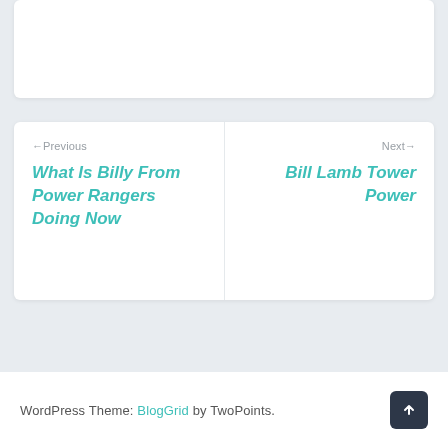[Figure (screenshot): White card area at top of page (partial, cropped)]
← Previous
What Is Billy From Power Rangers Doing Now
Next →
Bill Lamb Tower Power
WordPress Theme: BlogGrid by TwoPoints.